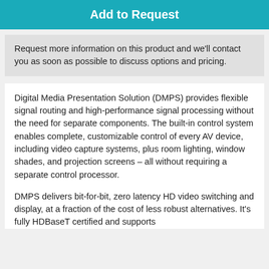Add to Request
Request more information on this product and we'll contact you as soon as possible to discuss options and pricing.
Digital Media Presentation Solution (DMPS) provides flexible signal routing and high-performance signal processing without the need for separate components. The built-in control system enables complete, customizable control of every AV device, including video capture systems, plus room lighting, window shades, and projection screens – all without requiring a separate control processor.
DMPS delivers bit-for-bit, zero latency HD video switching and display, at a fraction of the cost of less robust alternatives. It's fully HDBaseT certified and supports